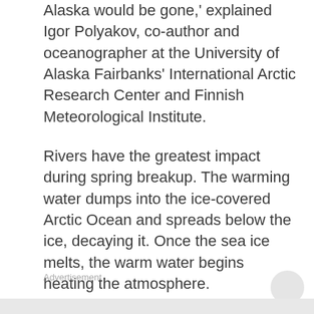Alaska would be gone,' explained Igor Polyakov, co-author and oceanographer at the University of Alaska Fairbanks' International Arctic Research Center and Finnish Meteorological Institute.
Rivers have the greatest impact during spring breakup. The warming water dumps into the ice-covered Arctic Ocean and spreads below the ice, decaying it. Once the sea ice melts, the warm water begins heating the atmosphere.
The research found that much more river heat energy enters the atmosphere than melts ice or heats the ocean. Since air is mobile, this means river heat can affect areas of the Arctic far from river deltas.
Advertisement